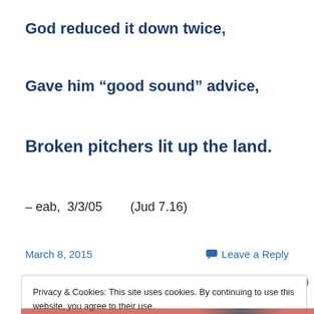God reduced it down twice,
Gave him “good sound” advice,
Broken pitchers lit up the land.
– eab,  3/3/05        (Jud 7.16)
March 8, 2015
Leave a Reply
Privacy & Cookies: This site uses cookies. By continuing to use this website, you agree to their use. To find out more, including how to control cookies, see here: Cookie Policy
Close and accept